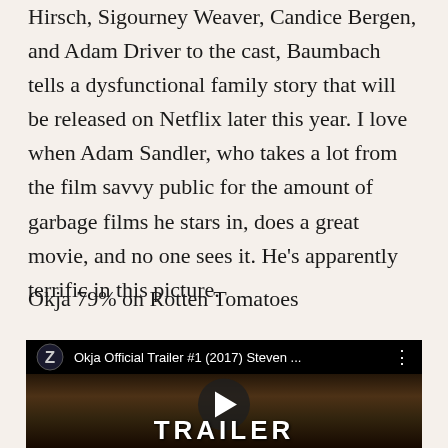Hirsch, Sigourney Weaver, Candice Bergen, and Adam Driver to the cast, Baumbach tells a dysfunctional family story that will be released on Netflix later this year. I love when Adam Sandler, who takes a lot from the film savvy public for the amount of garbage films he stars in, does a great movie, and no one sees it. He's apparently terrific in this picture.
Okja 79% on Rotten Tomatoes
[Figure (screenshot): YouTube video thumbnail for 'Okja Official Trailer #1 (2017) Steven ...' showing a close-up of a man's face with a large animal, with a play button in the center and 'TRAILER' text at the bottom.]